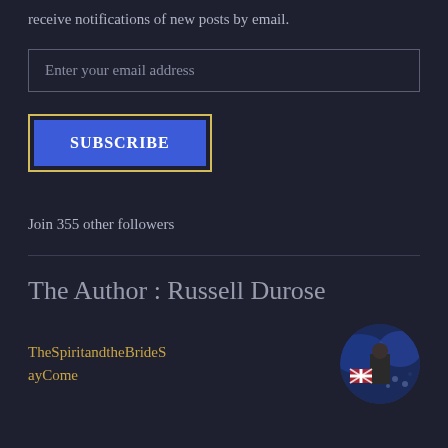receive notifications of new posts by email.
Enter your email address
SUBSCRIBE
Join 355 other followers
The Author : Russell Durose
TheSpiritandtheBrideSayCome
[Figure (photo): Circular avatar photo of a person holding a UK flag at what appears to be a live event, with blue stage lighting in background.]